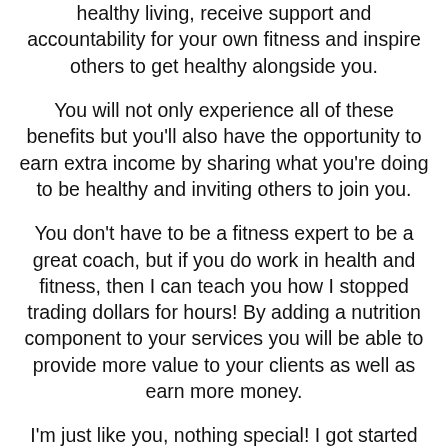healthy living, receive support and accountability for your own fitness and inspire others to get healthy alongside you.
You will not only experience all of these benefits but you'll also have the opportunity to earn extra income by sharing what you're doing to be healthy and inviting others to join you.
You don't have to be a fitness expert to be a great coach, but if you do work in health and fitness, then I can teach you how I stopped trading dollars for hours! By adding a nutrition component to your services you will be able to provide more value to your clients as well as earn more money.
I'm just like you, nothing special! I got started